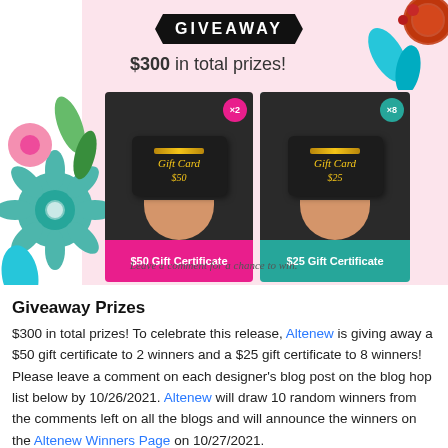[Figure (illustration): Giveaway promotional banner showing $300 in total prizes with two gift card options: $50 Gift Certificate (x2 winners) and $25 Gift Certificate (x8 winners), with floral decorations and text 'Leave a comment for a chance to win.']
Giveaway Prizes
$300 in total prizes! To celebrate this release, Altenew is giving away a $50 gift certificate to 2 winners and a $25 gift certificate to 8 winners! Please leave a comment on each designer's blog post on the blog hop list below by 10/26/2021. Altenew will draw 10 random winners from the comments left on all the blogs and will announce the winners on the Altenew Winners Page on 10/27/2021.